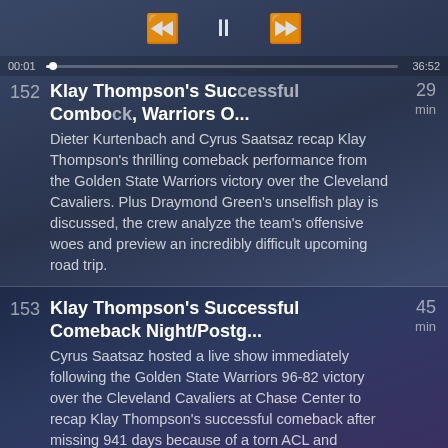152 | Klay Thompson's Successful Comeback, Warriors O... | 29 min
Dieter Kurtenbach and Cyrus Saatsaz recap Klay Thompson's thrilling comeback performance from the Golden State Warriors victory over the Cleveland Cavaliers. Plus Draymond Green's unselfish play is discussed, the crew analyze the team's offensive woes and preview an incredibly difficult upcoming road trip.
153 | Klay Thompson's Successful Comeback Night/Postg... | 45 min
Cyrus Saatsaz hosted a live show immediately following the Golden State Warriors 96-82 victory over the Cleveland Cavaliers at Chase Center to recap Klay Thompson's successful comeback after missing 941 days because of a torn ACL and subsequent torn Achilles tendon, with press conference coverage from Stephen Curry and Kevon Looney included.
154 | NBA Hall of Famer Rick Barry | 41 min
NBA Hall of Famer and Golden State Warriors legend Rick Barry joins Cyrus Saatsaz to discuss Klay Thompson's comeback, why there's never been a documentary made about his 1975 World